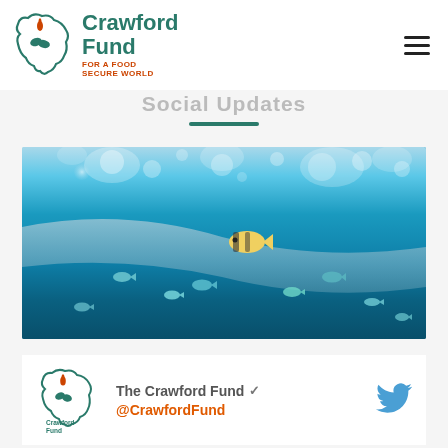Crawford Fund - For a Food Secure World
Social Updates
[Figure (photo): Underwater photograph showing fish swimming in blue tropical ocean water with light refracting through the surface]
[Figure (logo): Crawford Fund logo with Twitter handle. Text: The Crawford Fund @CrawfordFund]